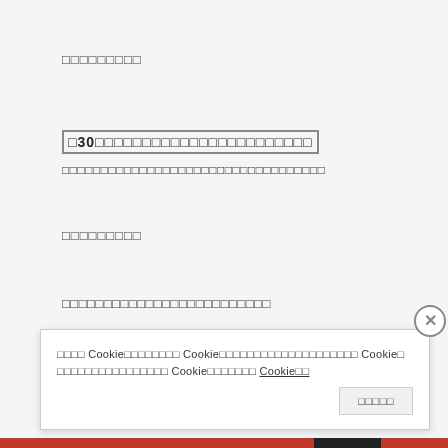□□□□□□□□□
□30□□□□□□□□□□□□□□□□□□□□□□□
□□□□□□□□□□□□□□□□□□□□□□□□□□□□□□□□□□
□□□□□□□□□
□□□□□□□□□□□□□□□□□□□□□□□□□
□□□□ Cookie□□□□□□□□ Cookie□□□□□□□□□□□□□□□□□□□□ Cookie□ □□□□□□□□□□□□□□□□ Cookie□□□□□□□ Cookie□□
□□□□□